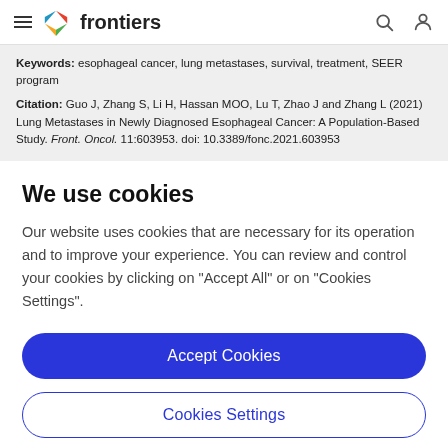frontiers
Keywords: esophageal cancer, lung metastases, survival, treatment, SEER program
Citation: Guo J, Zhang S, Li H, Hassan MOO, Lu T, Zhao J and Zhang L (2021) Lung Metastases in Newly Diagnosed Esophageal Cancer: A Population-Based Study. Front. Oncol. 11:603953. doi: 10.3389/fonc.2021.603953
We use cookies
Our website uses cookies that are necessary for its operation and to improve your experience. You can review and control your cookies by clicking on "Accept All" or on "Cookies Settings".
Accept Cookies
Cookies Settings